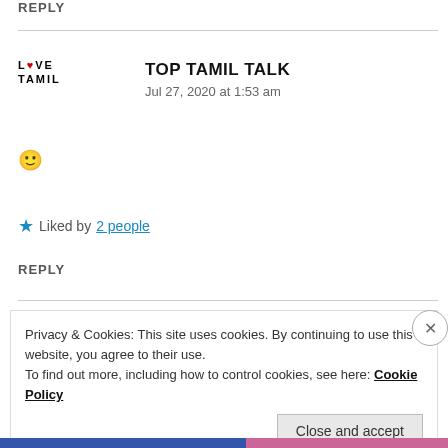REPLY
[Figure (logo): Love Tamil logo with a red heart replacing the letter O in LOVE, two-line text: LOVE TAMIL]
TOP TAMIL TALK
Jul 27, 2020 at 1:53 am
🙂
★ Liked by 2 people
REPLY
Privacy & Cookies: This site uses cookies. By continuing to use this website, you agree to their use.
To find out more, including how to control cookies, see here: Cookie Policy
Close and accept